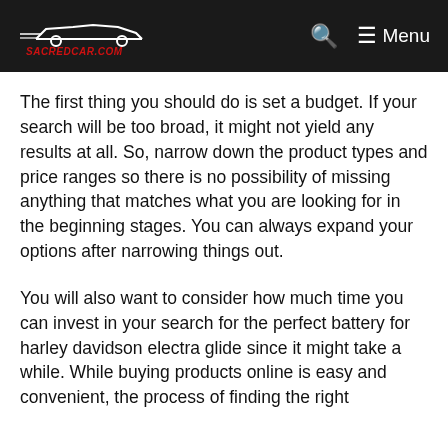sacredcar.com — Menu
The first thing you should do is set a budget. If your search will be too broad, it might not yield any results at all. So, narrow down the product types and price ranges so there is no possibility of missing anything that matches what you are looking for in the beginning stages. You can always expand your options after narrowing things out.
You will also want to consider how much time you can invest in your search for the perfect battery for harley davidson electra glide since it might take a while. While buying products online is easy and convenient, the process of finding the right